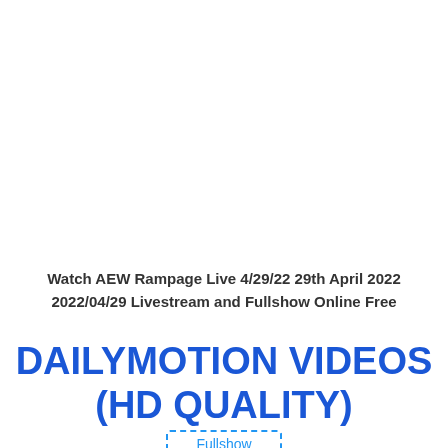Watch AEW Rampage Live 4/29/22 29th April 2022 2022/04/29 Livestream and Fullshow Online Free
DAILYMOTION VIDEOS (HD QUALITY)
Fullshow